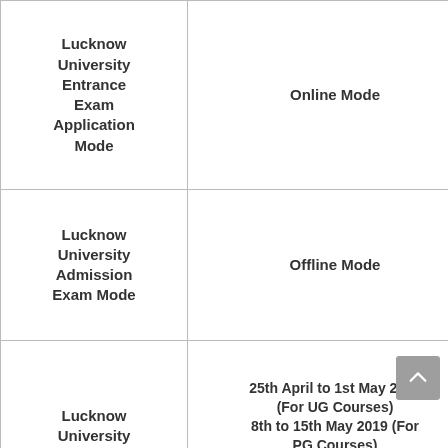|  |  |
| --- | --- |
| Lucknow University Entrance Exam Application Mode | Online Mode |
| Lucknow University Admission Exam Mode | Offline Mode |
| Lucknow University Exam Date | 25th April to 1st May 2019 (For UG Courses)
8th to 15th May 2019 (For PG Courses)
1st June to 7th June 2019 (For MBA Course) |
| Exam Duration | 1½ hours |